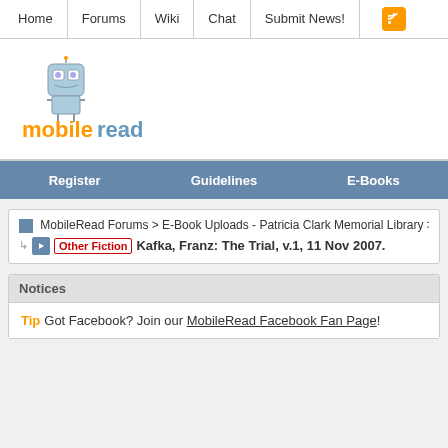Home | Forums | Wiki | Chat | Submit News!
[Figure (logo): MobileRead logo with cartoon robot character, text reads 'mobileread' in orange and blue]
Register | Guidelines | E-Books
MobileRead Forums > E-Book Uploads - Patricia Clark Memorial Library > Kindle ...
Other Fiction  Kafka, Franz: The Trial, v.1, 11 Nov 2007.
Notices
Tip  Got Facebook? Join our MobileRead Facebook Fan Page!